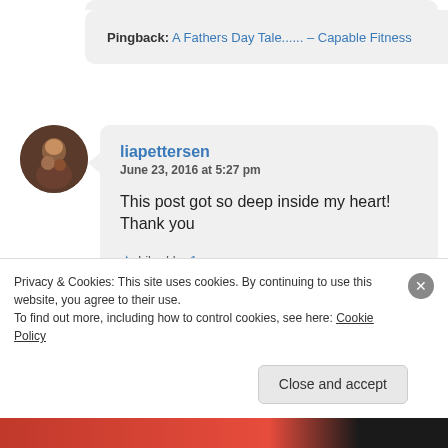Pingback: A Fathers Day Tale...... – Capable Fitness
[Figure (photo): Circular avatar photo of a person holding a dog]
liapettersen
June 23, 2016 at 5:27 pm

This post got so deep inside my heart! Thank you

★ Liked by 1 person

Reply
Privacy & Cookies: This site uses cookies. By continuing to use this website, you agree to their use.
To find out more, including how to control cookies, see here: Cookie Policy
Close and accept